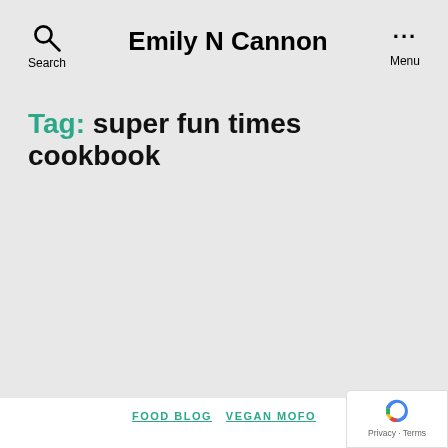Emily N Cannon
Tag: super fun times cookbook
FOOD BLOG   VEGAN MOFO
#VeganMoFo Day 27: Recreating & Overcomplicating A Gross Childhood Favorite